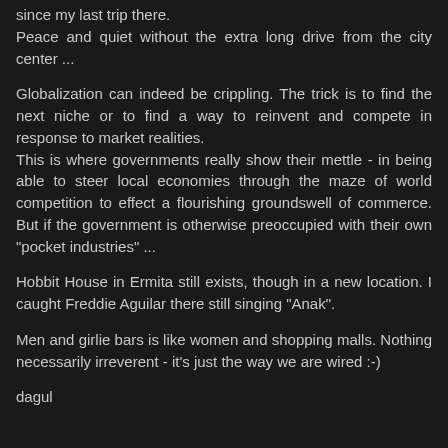since my last trip there.
Peace and quiet without the extra long drive from the city center ...
Globalization can indeed be crippling. The trick is to find the next niche or to find a way to reinvent and compete in response to market realities.
This is where governments really show their mettle - in being able to steer local economies through the maze of world competition to effect a flourishing groundswell of commerce. But if the government is otherwise preoccupied with their own "pocket industries" ...
Hobbit House in Ermita still exists, though in a new location. I caught Freddie Aguilar there still singing "Anak".
Men and girlie bars is like women and shopping malls. Nothing necessarily irreverent - it's just the way we are wired :-)
dagul